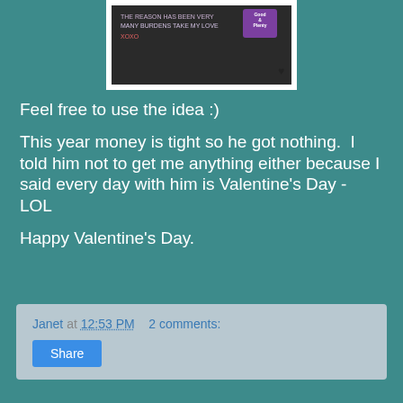[Figure (photo): Partial photo showing a handwritten note with candy (Good & Plenty box) and a heart drawn in black marker, on a dark background with white frame border]
Feel free to use the idea :)
This year money is tight so he got nothing.  I told him not to get me anything either because I said every day with him is Valentine's Day - LOL
Happy Valentine's Day.
Janet at 12:53 PM   2 comments:   Share